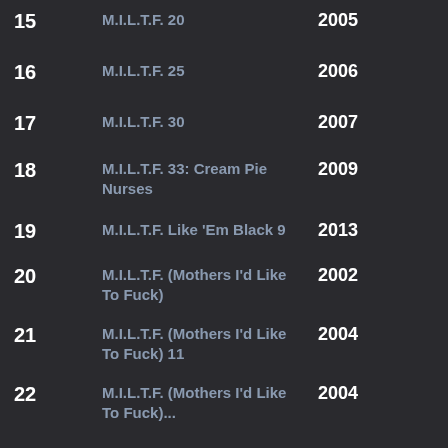| # | Title | Year | Category |
| --- | --- | --- | --- |
| 15 | M.I.L.T.F. 20 | 2005 | All |
| 16 | M.I.L.T.F. 25 | 2006 | All |
| 17 | M.I.L.T.F. 30 | 2007 | All |
| 18 | M.I.L.T.F. 33: Cream Pie Nurses | 2009 | Cou |
| 19 | M.I.L.T.F. Like 'Em Black 9 | 2013 | Grou |
| 20 | M.I.L.T.F. (Mothers I'd Like To Fuck) | 2002 | All |
| 21 | M.I.L.T.F. (Mothers I'd Like To Fuck) 11 | 2004 | All |
| 22 | M.I.L.T.F. (Mothers I'd Like To Fuck)... | 2004 | Porn |